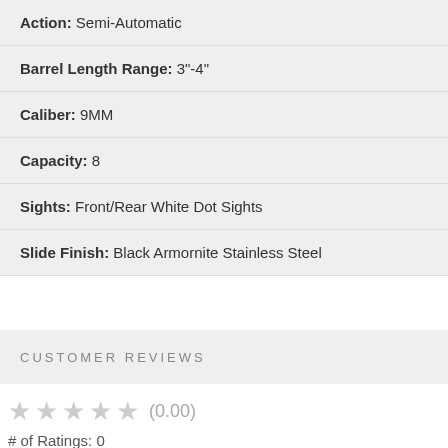Action: Semi-Automatic
Barrel Length Range: 3"-4"
Caliber: 9MM
Capacity: 8
Sights: Front/Rear White Dot Sights
Slide Finish: Black Armornite Stainless Steel
CUSTOMER REVIEWS
★★★★★ (0.00)
# of Ratings: 0